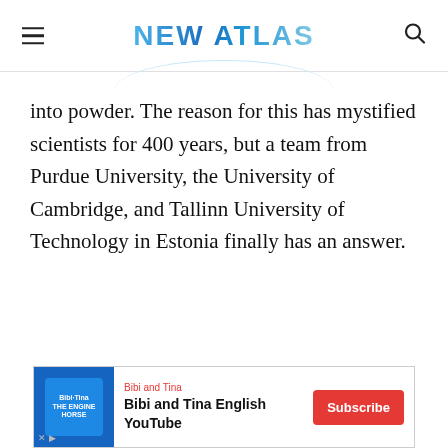NEW ATLAS
into powder. The reason for this has mystified scientists for 400 years, but a team from Purdue University, the University of Cambridge, and Tallinn University of Technology in Estonia finally has an answer.
[Figure (other): Advertisement banner for Bibi and Tina English YouTube channel with Subscribe button]